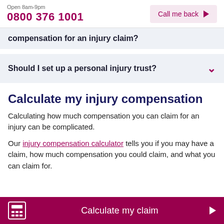Open 8am-9pm
0800 376 1001
Call me back
compensation for an injury claim?
Should I set up a personal injury trust?
Calculate my injury compensation
Calculating how much compensation you can claim for an injury can be complicated.
Our injury compensation calculator tells you if you may have a claim, how much compensation you could claim, and what you can claim for.
Calculate my claim